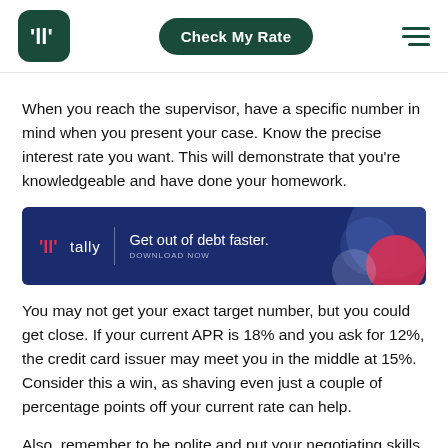Tally — Check My Rate
When you reach the supervisor, have a specific number in mind when you present your case. Know the precise interest rate you want. This will demonstrate that you're knowledgeable and have done your homework.
[Figure (infographic): Tally advertisement banner: 'Get out of debt faster. DOWNLOAD NOW' on dark blue background with decorative circles and Tally logo.]
You may not get your exact target number, but you could get close. If your current APR is 18% and you ask for 12%, the credit card issuer may meet you in the middle at 15%. Consider this a win, as shaving even just a couple of percentage points off your current rate can help.
Also, remember to be polite and put your negotiating skills to work. If you do your research beforehand and lay